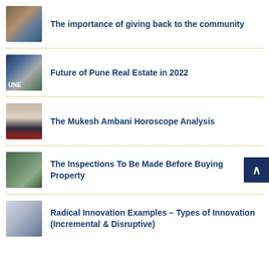The importance of giving back to the community
Future of Pune Real Estate in 2022
The Mukesh Ambani Horoscope Analysis
The Inspections To Be Made Before Buying Property
Radical Innovation Examples – Types of Innovation (Incremental & Disruptive)